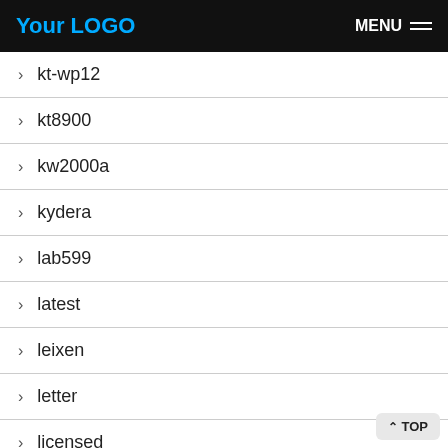Your LOGO   MENU
> kt-wp12
> kt8900
> kw2000a
> kydera
> lab599
> latest
> leixen
> letter
> licensed
> lifestyle
> lightly